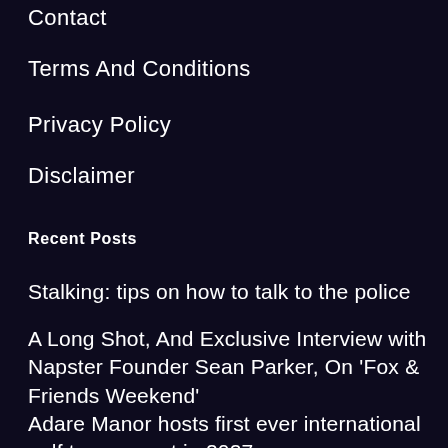Contact
Terms And Conditions
Privacy Policy
Disclaimer
Recent Posts
Stalking: tips on how to talk to the police
A Long Shot, And Exclusive Interview with Napster Founder Sean Parker, On 'Fox & Friends Weekend'
Adare Manor hosts first ever international golf tournament in 2027